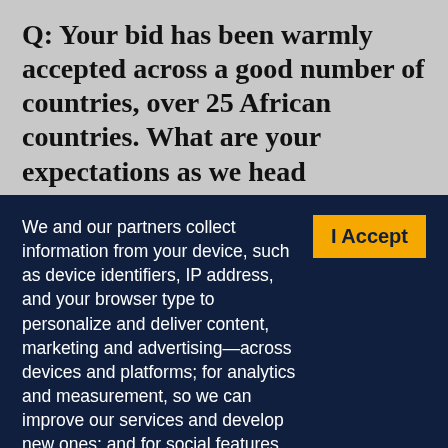Q: Your bid has been warmly accepted across a good number of countries, over 25 African countries. What are your expectations as we head
We and our partners collect information from your device, such as device identifiers, IP address, and your browser type to personalize and deliver content, marketing and advertising—across devices and platforms; for analytics and measurement, so we can improve our services and develop new ones; and for social features. By clicking “I accept”, you consent to our use of these Cookies. Visit our Privacy Policy to learn more.
YOUR USE OF THIS SITE SIGNIFIES YOUR AGREEMENT TO THIS PRIVACY POLICY.